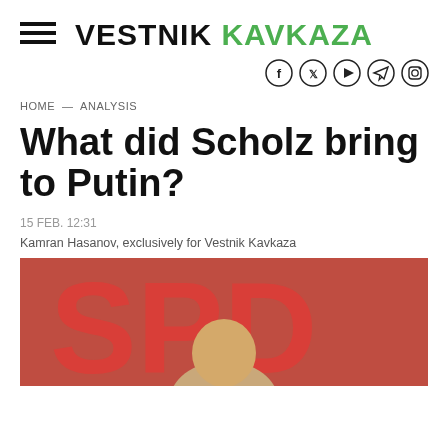VESTNIK KAVKAZA
HOME — ANALYSIS
What did Scholz bring to Putin?
15 FEB. 12:31
Kamran Hasanov, exclusively for Vestnik Kavkaza
[Figure (photo): Photo showing a man in front of a large red sign with letters 'SPD' visible in the background]